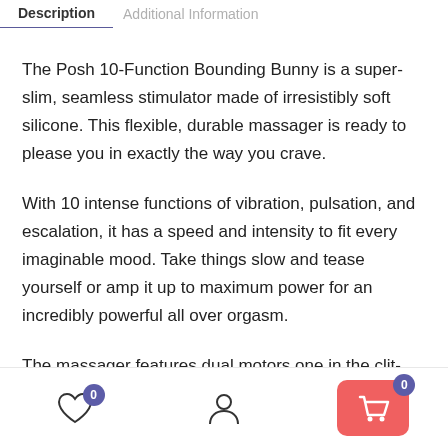Description | Additional Information
The Posh 10-Function Bounding Bunny is a super-slim, seamless stimulator made of irresistibly soft silicone. This flexible, durable massager is ready to please you in exactly the way you crave.
With 10 intense functions of vibration, pulsation, and escalation, it has a speed and intensity to fit every imaginable mood. Take things slow and tease yourself or amp it up to maximum power for an incredibly powerful all over orgasm.
The massager features dual motors one in the clit-